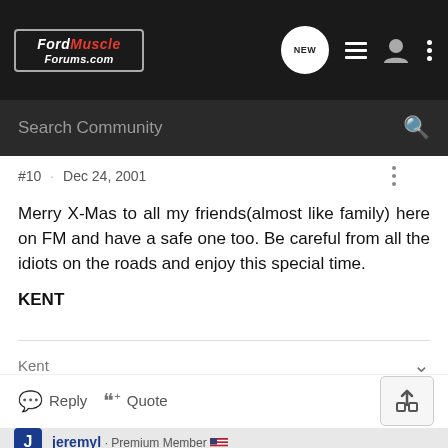FordMuscleForums.com
#10 · Dec 24, 2001
Merry X-Mas to all my friends(almost like family) here on FM and have a safe one too. Be careful from all the idiots on the roads and enjoy this special time.

KENT
Kent
Reply  Quote
jeremyl · Premium Member
Joined Mar 2, 2001 · 1,727 Posts